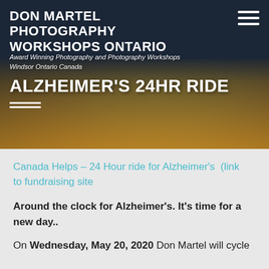DON MARTEL PHOTOGRAPHY WORKSHOPS ONTARIO
ALZHEIMER'S 24HR RIDE
Award Winning Photography and Photography Workshops Windsor Ontario Canada
Canada Helps – 24 Hour ride for Alzheimer's  (link to fundraising site
Around the clock for Alzheimer's. It's time for a new day..
On Wednesday, May 20, 2020 Don Martel will cycle